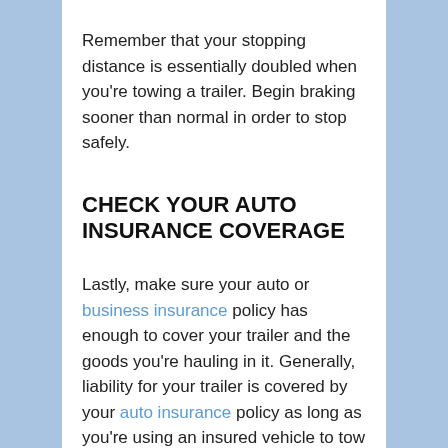Remember that your stopping distance is essentially doubled when you're towing a trailer. Begin braking sooner than normal in order to stop safely.
CHECK YOUR AUTO INSURANCE COVERAGE
Lastly, make sure your auto or business insurance policy has enough to cover your trailer and the goods you're hauling in it. Generally, liability for your trailer is covered by your auto insurance policy as long as you're using an insured vehicle to tow it. Physical damage coverage for your trailer is also